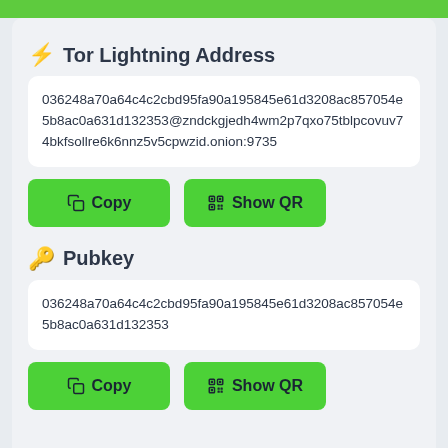⚡ Tor Lightning Address
036248a70a64c4c2cbd95fa90a195845e61d3208ac857054e5b8ac0a631d132353@zndckgjedh4wm2p7qxo75tblpcovuv74bkfsollre6k6nnz5v5cpwzid.onion:9735
Copy
Show QR
🔑 Pubkey
036248a70a64c4c2cbd95fa90a195845e61d3208ac857054e5b8ac0a631d132353
Copy
Show QR